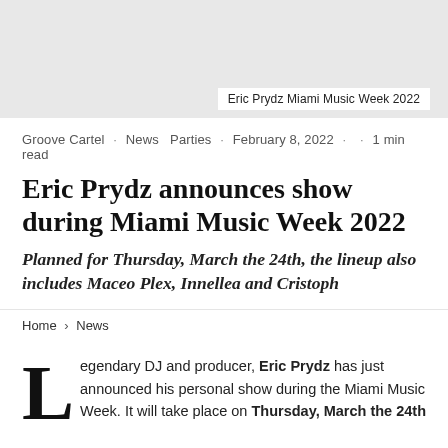[Figure (photo): Gray banner image area at the top of the article page]
Eric Prydz Miami Music Week 2022
Groove Cartel · News Parties · February 8, 2022 · · 1 min read
Eric Prydz announces show during Miami Music Week 2022
Planned for Thursday, March the 24th, the lineup also includes Maceo Plex, Innellea and Cristoph
Home > News
Legendary DJ and producer, Eric Prydz has just announced his personal show during the Miami Music Week. It will take place on Thursday, March the 24th